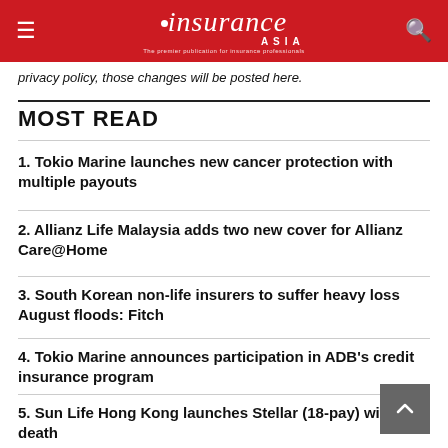insurance ASIA
privacy policy, those changes will be posted here.
MOST READ
1. Tokio Marine launches new cancer protection with multiple payouts
2. Allianz Life Malaysia adds two new cover for Allianz Care@Home
3. South Korean non-life insurers to suffer heavy loss August floods: Fitch
4. Tokio Marine announces participation in ADB's credit insurance program
5. Sun Life Hong Kong launches Stellar (18-pay) with death